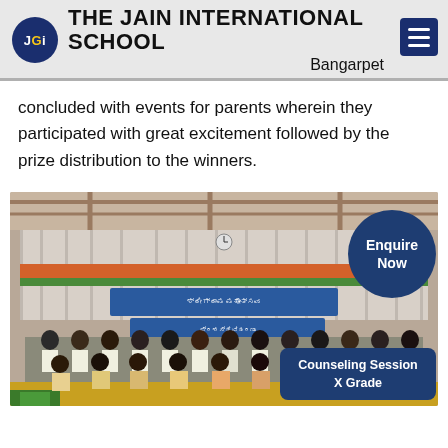THE JAIN INTERNATIONAL SCHOOL Bangarpet
concluded with events for parents wherein they participated with great excitement followed by the prize distribution to the winners.
[Figure (photo): Group photo at a prize distribution event in a decorated hall with banner, showing students and parents seated and standing in rows.]